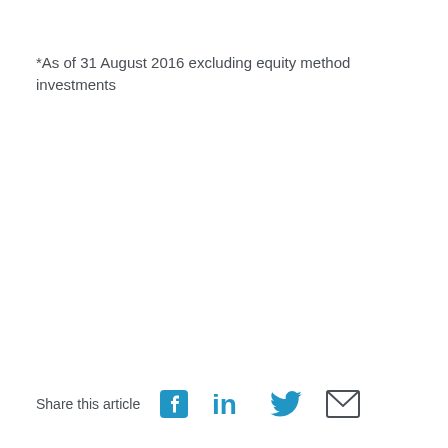*As of 31 August 2016 excluding equity method investments
Share this article [Facebook] [LinkedIn] [Twitter] [Email]